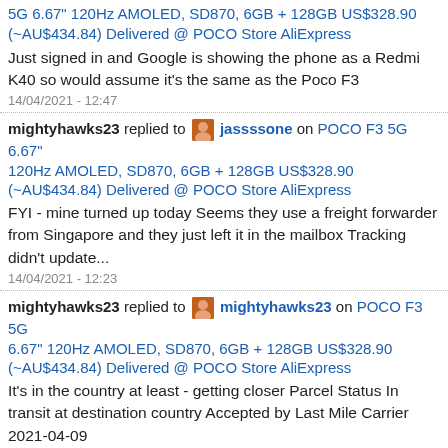5G 6.67" 120Hz AMOLED, SD870, 6GB + 128GB US$328.90 (~AU$434.84) Delivered @ POCO Store AliExpress
Just signed in and Google is showing the phone as a Redmi K40 so would assume it's the same as the Poco F3
14/04/2021 - 12:47
mightyhawks23 replied to jassssone on POCO F3 5G 6.67" 120Hz AMOLED, SD870, 6GB + 128GB US$328.90 (~AU$434.84) Delivered @ POCO Store AliExpress
FYI - mine turned up today Seems they use a freight forwarder from Singapore and they just left it in the mailbox Tracking didn't update...
14/04/2021 - 12:23
mightyhawks23 replied to mightyhawks23 on POCO F3 5G 6.67" 120Hz AMOLED, SD870, 6GB + 128GB US$328.90 (~AU$434.84) Delivered @ POCO Store AliExpress
It's in the country at least - getting closer Parcel Status In transit at destination country Accepted by Last Mile Carrier 2021-04-09
09/04/2021 - 18:08
mightyhawks23 replied to sie on POCO F3 5G 6.67" 120Hz AMOLED, SD870, 6GB + 128GB US$328.90